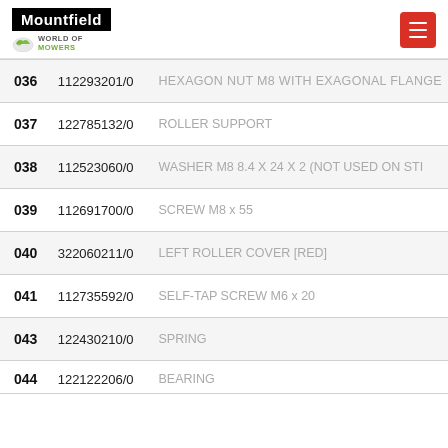[Figure (logo): Mountfield World of Mowers logo with black text block and green/grey sub-logo]
| # | Part Number | Description |
| --- | --- | --- |
| 036 | 112293201/0 | HEXAGON NUT M8 WITH EXAGONAL FLANGE |
| 037 | 122785132/0 | ROLLER SUPPORT |
| 038 | 112523060/0 | WASHER M8 8.4 X 24 X 2 (NOT USED ON STI... |
| 039 | 112691700/0 | SCREW M8 x 55 |
| 040 | 322060211/0 | LEFT ROLLER COVER [RED] |
| 041 | 112735592/0 | SELF-TAP SCREW M6 x 20 |
| 043 | 122430210/0 | SPRING |
| 044 | 122122206/0 | BEARING |